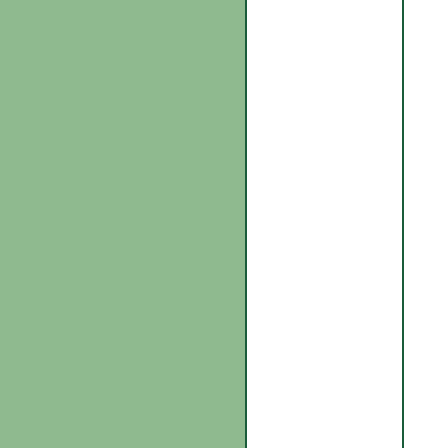aluminium foil woven into the cloth. You put these gloves near the heat and then the metallic pieces help keep the warmth in. If these liners are cold, do not use them because the metal also holds the cold.

4. Make sure that the hand coverings go into the jacket sleeve so that no cold will get to your
[Figure (other): Green colored column on the left side of the page]